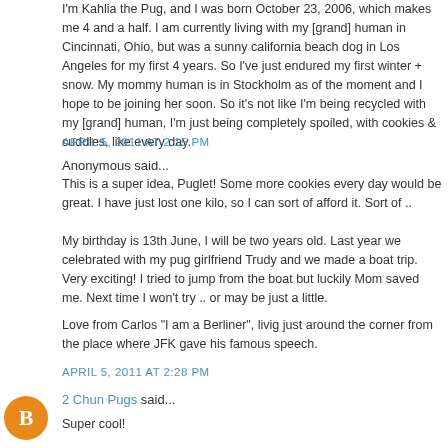I'm Kahlia the Pug, and I was born October 23, 2006, which makes me 4 and a half. I am currently living with my [grand] human in Cincinnati, Ohio, but was a sunny california beach dog in Los Angeles for my first 4 years. So I've just endured my first winter + snow. My mommy human is in Stockholm as of the moment and I hope to be joining her soon. So it's not like I'm being recycled with my [grand] human, I'm just being completely spoiled, with cookies & cuddles, like every day.
APRIL 5, 2011 AT 2:15 PM
Anonymous said...
This is a super idea, Puglet! Some more cookies every day would be great. I have just lost one kilo, so I can sort of afford it. Sort of ..
My birthday is 13th June, I will be two years old. Last year we celebrated with my pug girlfriend Trudy and we made a boat trip. Very exciting! I tried to jump from the boat but luckily Mom saved me. Next time I won't try .. or may be just a little.
Love from Carlos "I am a Berliner", livig just around the corner from the place where JFK gave his famous speech.
APRIL 5, 2011 AT 2:28 PM
2 Chun Pugs said...
Super cool!